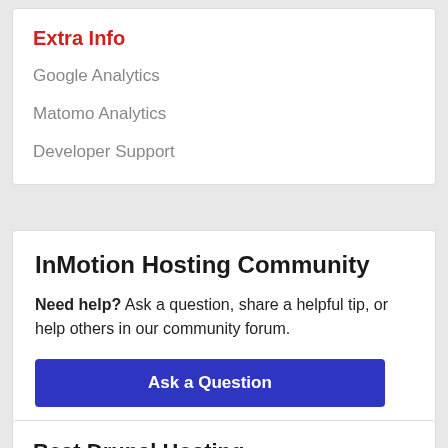Extra Info
Google Analytics
Matomo Analytics
Developer Support
InMotion Hosting Community
Need help? Ask a question, share a helpful tip, or help others in our community forum.
Ask a Question
Best Drupal Hosting